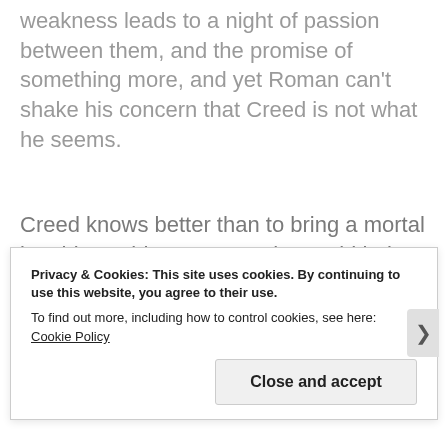weakness leads to a night of passion between them, and the promise of something more, and yet Roman can't shake his concern that Creed is not what he seems.
Creed knows better than to bring a mortal into his world, even one who could help him find the link between the pack of violent vampires preying on the people of Santa Cruz and Creed's past. When
Privacy & Cookies: This site uses cookies. By continuing to use this website, you agree to their use.
To find out more, including how to control cookies, see here: Cookie Policy
Close and accept